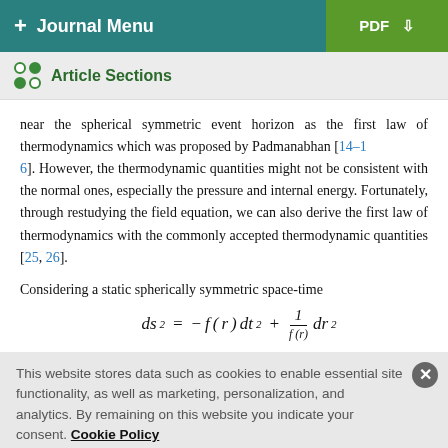+ Journal Menu | PDF
Article Sections
near the spherical symmetric event horizon as the first law of thermodynamics which was proposed by Padmanabhan [14–16]. However, the thermodynamic quantities might not be consistent with the normal ones, especially the pressure and internal energy. Fortunately, through restudying the field equation, we can also derive the first law of thermodynamics with the commonly accepted thermodynamic quantities [25, 26].
Considering a static spherically symmetric space-time
This website stores data such as cookies to enable essential site functionality, as well as marketing, personalization, and analytics. By remaining on this website you indicate your consent. Cookie Policy